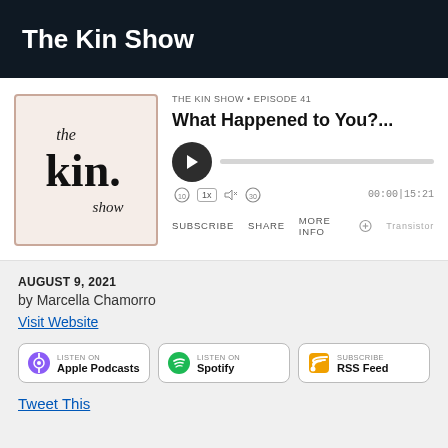The Kin Show
[Figure (logo): The Kin Show podcast album art with stylized text 'the kin. show' on a light pink/cream background with a dusty rose border]
THE KIN SHOW • EPISODE 41
What Happened to You?...
00:00|15:21
SUBSCRIBE   SHARE   MORE INFO   Transistor
AUGUST 9, 2021
by Marcella Chamorro
Visit Website
LISTEN ON Apple Podcasts
LISTEN ON Spotify
SUBSCRIBE RSS Feed
Tweet This